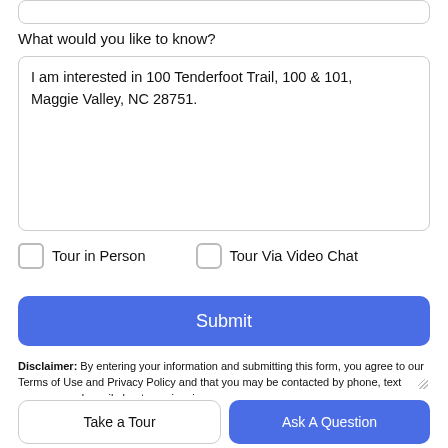What would you like to know?
I am interested in 100 Tenderfoot Trail, 100 & 101, Maggie Valley, NC 28751.
Tour in Person
Tour Via Video Chat
Submit
Disclaimer: By entering your information and submitting this form, you agree to our Terms of Use and Privacy Policy and that you may be contacted by phone, text message and email about your inquiry.
Take a Tour
Ask A Question